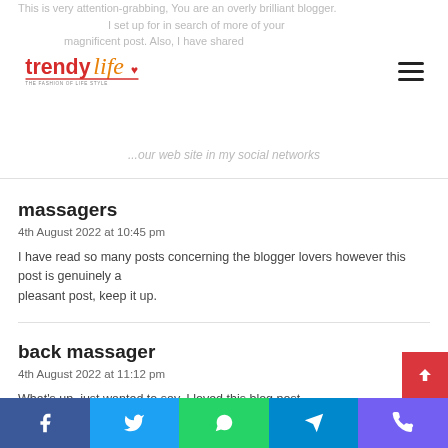TrendyLife - The Fashion of Life Style
This is very attention-grabbing, You are an overly brilliant blogger. I have joined your feed and sit up for in search of more of your magnificent post. Also, I have shared your web site in my social networks
massagers
4th August 2022 at 10:45 pm
I have read so many posts concerning the blogger lovers however this post is genuinely a pleasant post, keep it up.
back massager
4th August 2022 at 11:12 pm
What's up, just wanted to say, I loved this blog post.
Facebook Twitter WhatsApp Telegram Phone